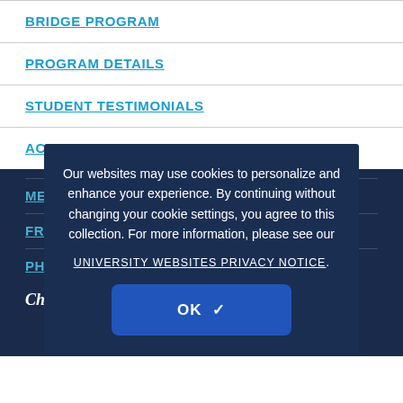BRIDGE PROGRAM
PROGRAM DETAILS
STUDENT TESTIMONIALS
ACCEPTED STUDENTS
MEET THE TUTORS
FREQUENTLY ASKED QUESTIONS
PHOTOS
Our websites may use cookies to personalize and enhance your experience. By continuing without changing your cookie settings, you agree to this collection. For more information, please see our UNIVERSITY WEBSITES PRIVACY NOTICE.
OK ✓
Chad Rivera — BR